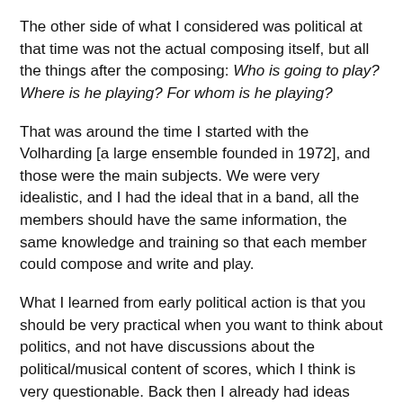The other side of what I considered was political at that time was not the actual composing itself, but all the things after the composing: Who is going to play? Where is he playing? For whom is he playing?
That was around the time I started with the Volharding [a large ensemble founded in 1972], and those were the main subjects. We were very idealistic, and I had the ideal that in a band, all the members should have the same information, the same knowledge and training so that each member could compose and write and play.
What I learned from early political action is that you should be very practical when you want to think about politics, and not have discussions about the political/musical content of scores, which I think is very questionable. Back then I already had ideas about the position of the composer in society, and I started thinking about forming an orchestra. I followed what jazz musicians by nature do all the time: call their friends together and start playing music, where the alienation, we